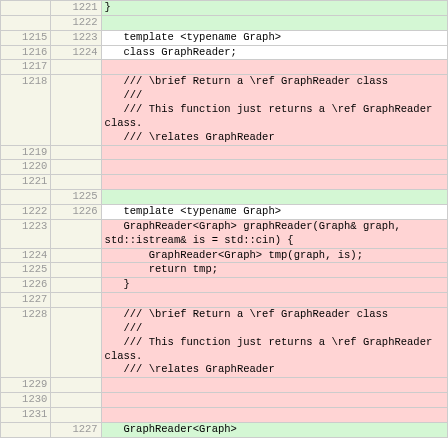| old_ln | new_ln | code |
| --- | --- | --- |
|  | 1221 | } |
|  | 1222 |  |
| 1215 | 1223 | template <typename Graph> |
| 1216 | 1224 | class GraphReader; |
| 1217 |  |  |
| 1218 |  | /// \brief Return a \ref GraphReader class
///
/// This function just returns a \ref GraphReader class.
/// \relates GraphReader |
| 1219 |  |  |
| 1220 |  |  |
| 1221 |  |  |
|  | 1225 |  |
| 1222 | 1226 | template <typename Graph> |
| 1223 |  | GraphReader<Graph> graphReader(Graph& graph, std::istream& is = std::cin) { |
| 1224 |  |     GraphReader<Graph> tmp(graph, is); |
| 1225 |  |     return tmp; |
| 1226 |  | } |
| 1227 |  |  |
| 1228 |  | /// \brief Return a \ref GraphReader class
///
/// This function just returns a \ref GraphReader class.
/// \relates GraphReader |
| 1229 |  |  |
| 1230 |  |  |
| 1231 |  |  |
|  | 1227 | GraphReader<Graph> |